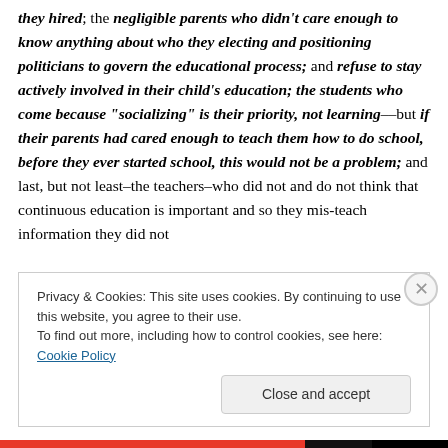they hired; the negligible parents who didn't care enough to know anything about who they electing and positioning politicians to govern the educational process; and refuse to stay actively involved in their child's education; the students who come because "socializing" is their priority, not learning––but if their parents had cared enough to teach them how to do school, before they ever started school, this would not be a problem; and last, but not least–the teachers–who did not and do not think that continuous education is important and so they mis-teach information they did not
Privacy & Cookies: This site uses cookies. By continuing to use this website, you agree to their use.
To find out more, including how to control cookies, see here: Cookie Policy